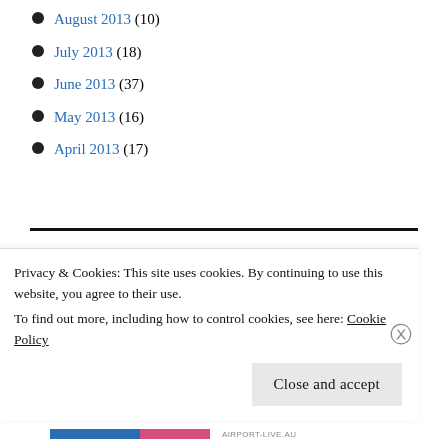August 2013 (10)
July 2013 (18)
June 2013 (37)
May 2013 (16)
April 2013 (17)
August 2022
| M | T | W | T | F | S | S |
| --- | --- | --- | --- | --- | --- | --- |
Privacy & Cookies: This site uses cookies. By continuing to use this website, you agree to their use.
To find out more, including how to control cookies, see here: Cookie Policy
Close and accept